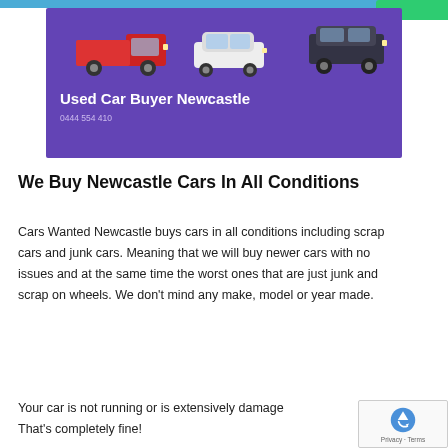[Figure (illustration): Website banner with purple background showing vehicles (red truck, white sedan, dark SUV) and text 'Used Car Buyer Newcastle' with phone number 0444 554 410]
We Buy Newcastle Cars In All Conditions
Cars Wanted Newcastle buys cars in all conditions including scrap cars and junk cars. Meaning that we will buy newer cars with no issues and at the same time the worst ones that are just junk and scrap on wheels. We don't mind any make, model or year made.
Your car is not running or is extensively damaged? That's completely fine!